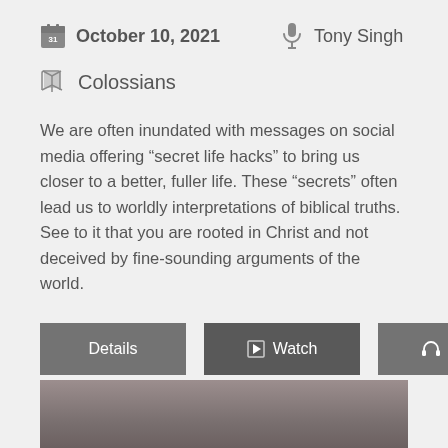October 10, 2021 | Tony Singh
Colossians
We are often inundated with messages on social media offering “secret life hacks” to bring us closer to a better, fuller life. These “secrets” often lead us to worldly interpretations of biblical truths. See to it that you are rooted in Christ and not deceived by fine-sounding arguments of the world.
[Figure (other): Three buttons: Details, Watch (with play icon), Listen (with headphones icon)]
[Figure (photo): Video preview thumbnail, partially visible at bottom of page, gray/muted tones]